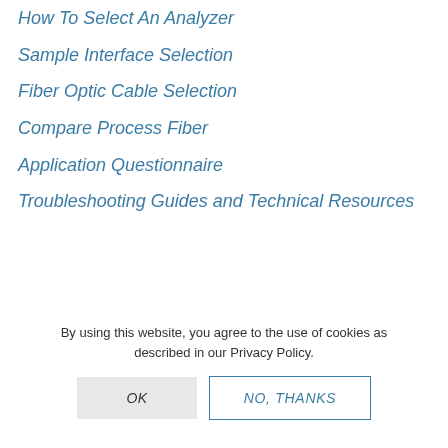How To Select An Analyzer
Sample Interface Selection
Fiber Optic Cable Selection
Compare Process Fiber
Application Questionnaire
Troubleshooting Guides and Technical Resources
By using this website, you agree to the use of cookies as described in our Privacy Policy.
OK
NO, THANKS